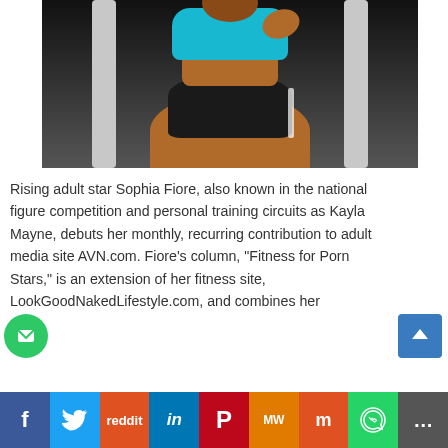[Figure (photo): Woman in blue sports bra and black shorts posing in a gym on weight equipment]
Rising adult star Sophia Fiore, also known in the national figure competition and personal training circuits as Kayla Mayne, debuts her monthly, recurring contribution to adult media site AVN.com. Fiore’s column, “Fitness for Porn Stars,” is an extension of her fitness site, LookGoodNakedLifestyle.com, and combines her
f  🐦  reddit  in  P  MW  m  WhatsApp  …